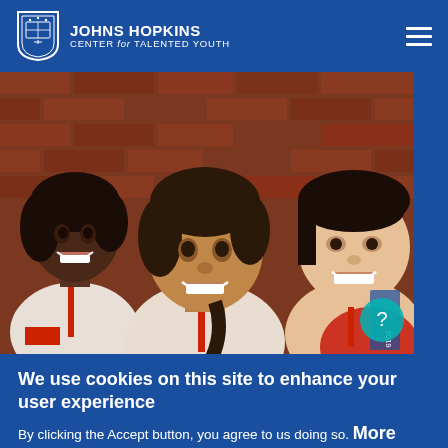Johns Hopkins Center for Talented Youth
[Figure (photo): Three smiling girls posing in front of a red brick wall. They appear to be students wearing lanyards/ID badges. Photo taken at a Johns Hopkins CTY program in 2019.]
We use cookies on this site to enhance your user experience
By clicking the Accept button, you agree to us doing so. More Info